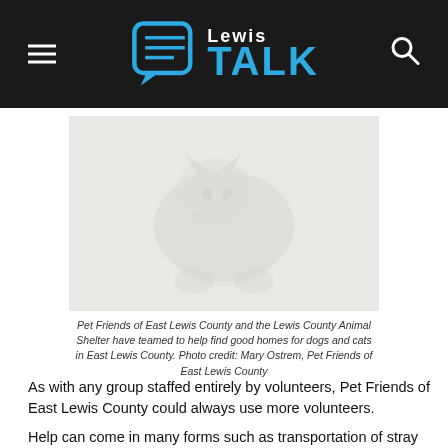Lewis TALK
[Figure (photo): A white/light-colored cat resting, very faint/washed-out photo]
Pet Friends of East Lewis County and the Lewis County Animal Shelter have teamed to help find good homes for dogs and cats in East Lewis County. Photo credit: Mary Ostrem, Pet Friends of East Lewis County
As with any group staffed entirely by volunteers, Pet Friends of East Lewis County could always use more volunteers. Help can come in many forms such as transportation of stray or lost dogs and cats to the shelter, donations of dog and cat